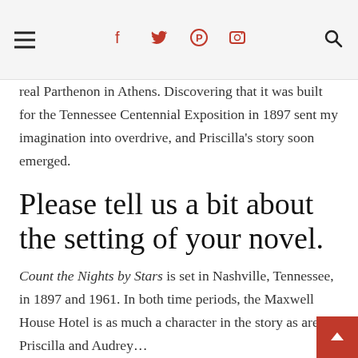☰  f  𝕥  𝗽  📷  🔍
real Parthenon in Athens. Discovering that it was built for the Tennessee Centennial Exposition in 1897 sent my imagination into overdrive, and Priscilla's story soon emerged.
Please tell us a bit about the setting of your novel.
Count the Nights by Stars is set in Nashville, Tennessee, in 1897 and 1961. In both time periods, the Maxwell House Hotel is as much a character in the story as are Priscilla and Audrey…